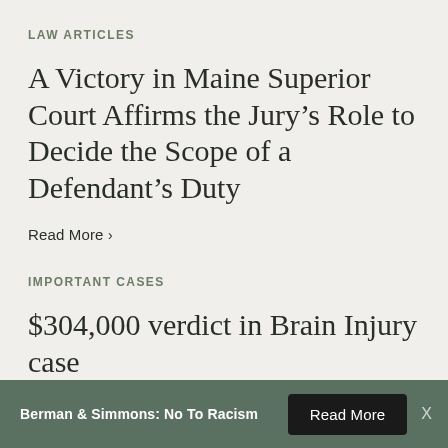LAW ARTICLES
A Victory in Maine Superior Court Affirms the Jury’s Role to Decide the Scope of a Defendant’s Duty
Read More ›
IMPORTANT CASES
$304,000 verdict in Brain Injury case
Berman & Simmons: No To Racism
Read More